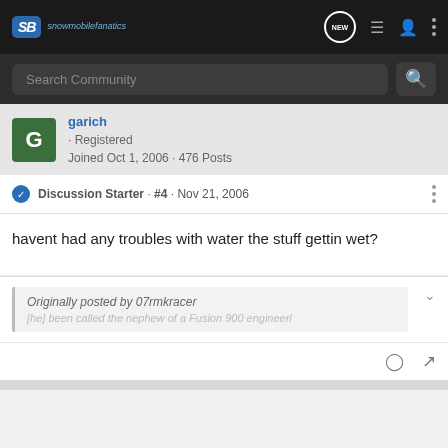Snowmobile Fanatics — nav bar with logo, NEW, list, user, and more icons
Search Community
garich · Registered
Joined Oct 1, 2006 · 476 Posts
Discussion Starter · #4 · Nov 21, 2006
havent had any troubles with water the stuff gettin wet?
Originally posted by 07rmkracer
[he] been called the nephew of a Fusion 900 engineer